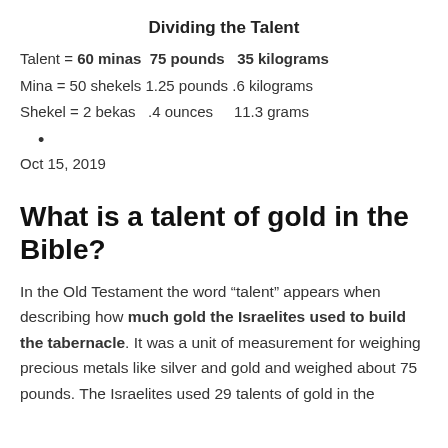Dividing the Talent
Talent = 60 minas  75 pounds   35 kilograms
Mina = 50 shekels  1.25 pounds  .6 kilograms
Shekel = 2 bekas   .4 ounces      11.3 grams
•
Oct 15, 2019
What is a talent of gold in the Bible?
In the Old Testament the word “talent” appears when describing how much gold the Israelites used to build the tabernacle. It was a unit of measurement for weighing precious metals like silver and gold and weighed about 75 pounds. The Israelites used 29 talents of gold in the